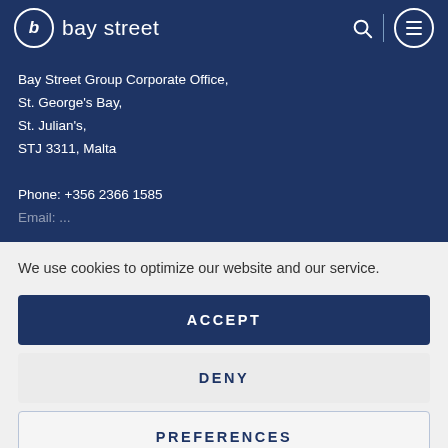b bay street
Bay Street Group Corporate Office,
St. George's Bay,
St. Julian's,
STJ 3311, Malta

Phone: +356 2366 1585
We use cookies to optimize our website and our service.
ACCEPT
DENY
PREFERENCES
Cookie Policy  Privacy Policy